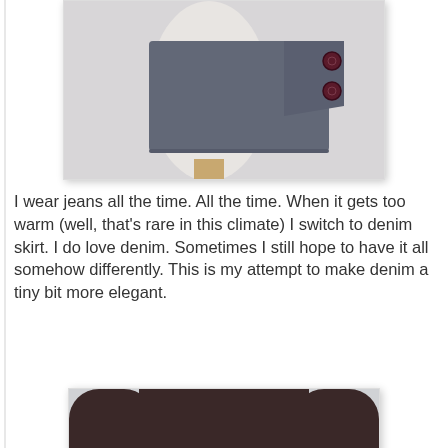[Figure (photo): Close-up of a denim skirt waistband with two dark red/burgundy buttons on the right side, shown on a mannequin or person against a light background.]
I wear jeans all the time. All the time. When it gets too warm (well, that's rare in this climate) I switch to denim skirt. I do love denim. Sometimes I still hope to have it all somehow differently. This is my attempt to make denim a tiny bit more elegant.
[Figure (photo): A person wearing a dark brown long-sleeve top and a high-waisted gray denim pleated skirt, hands on hips, cropped to show torso and upper thighs.]